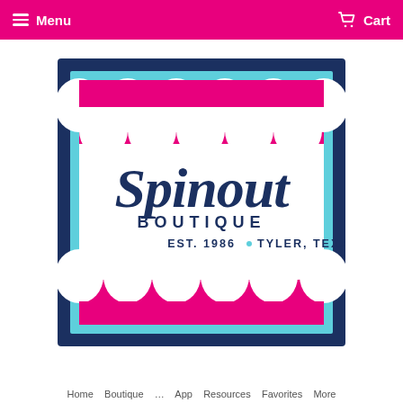Menu   Cart
[Figure (logo): Spinout Boutique logo: square with dark navy blue outer border, cyan inner border, hot-pink scallop/fan pattern at top and bottom strips, white center area with dark navy script text 'Spinout', below that 'BOUTIQUE' in navy sans-serif caps, then 'EST. 1986 • TYLER, TEXAS' in navy sans-serif.]
Home   Boutique   ...   App   Resources   Favorites   More